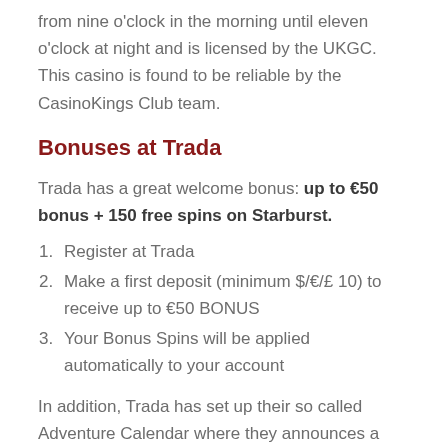from nine o'clock in the morning until eleven o'clock at night and is licensed by the UKGC. This casino is found to be reliable by the CasinoKings Club team.
Bonuses at Trada
Trada has a great welcome bonus: up to €50 bonus + 150 free spins on Starburst.
Register at Trada
Make a first deposit (minimum $/€/£ 10) to receive up to €50 BONUS
Your Bonus Spins will be applied automatically to your account
In addition, Trada has set up their so called Adventure Calendar where they announces a new bonus every...